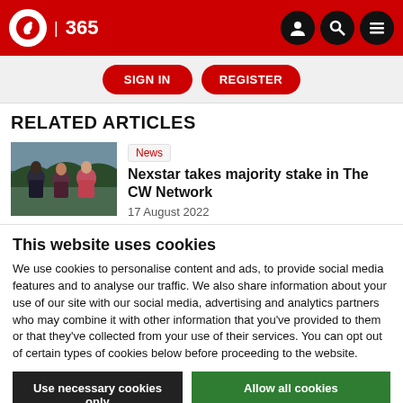IBC 365 | Sign In | Register
RELATED ARTICLES
[Figure (photo): Thumbnail photo of TV show cast (young adults/teens) outdoors in winter clothing]
News
Nexstar takes majority stake in The CW Network
17 August 2022
This website uses cookies
We use cookies to personalise content and ads, to provide social media features and to analyse our traffic. We also share information about your use of our site with our social media, advertising and analytics partners who may combine it with other information that you've provided to them or that they've collected from your use of their services. You can opt out of certain types of cookies below before proceeding to the website.
Use necessary cookies only
Allow all cookies
Show details